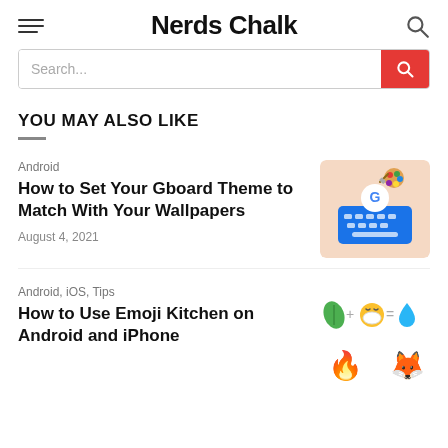Nerds Chalk
Search...
YOU MAY ALSO LIKE
Android
How to Set Your Gboard Theme to Match With Your Wallpapers
August 4, 2021
[Figure (illustration): Gboard app icon on a peach background — Google G logo with a paintbrush and color palette above it on a blue keyboard]
Android, iOS, Tips
How to Use Emoji Kitchen on Android and iPhone
[Figure (illustration): Emoji Kitchen combination graphic showing leaf + mask emoji = water drop emoji and other combinations]